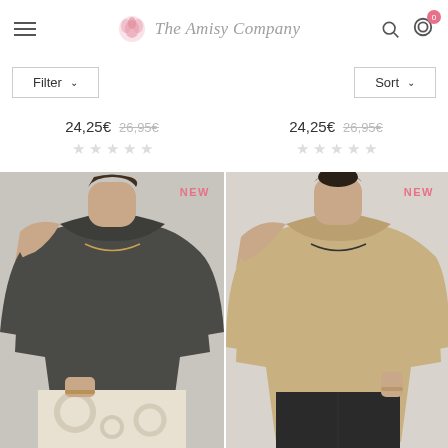The Amisy Company — navigation header with hamburger menu, logo, search and cart icons
Filter ▾
Sort ▾
24,25€  26,95€ (sale price left product)
★★★★★ (empty stars left product)
24,25€  26,95€ (sale price right product)
★★★★★ (empty stars right product)
[Figure (photo): Woman wearing dark charcoal/grey off-shoulder sweater with tie-dye skirt. NEW badge in pink top right corner.]
[Figure (photo): Woman wearing beige/camel off-shoulder sweater with black pants. NEW badge in pink top right corner.]